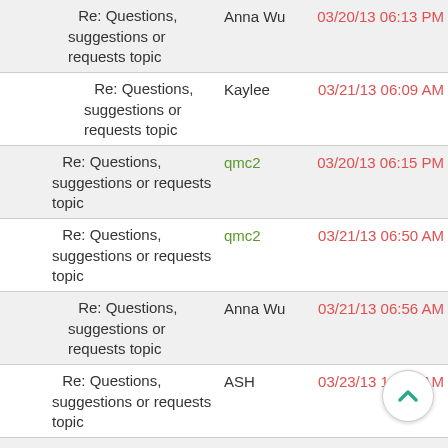Re: Questions, suggestions or requests topic — Anna Wu — 03/20/13 06:13 PM
Re: Questions, suggestions or requests topic — Kaylee — 03/21/13 06:09 AM
Re: Questions, suggestions or requests topic — qmc2 — 03/20/13 06:15 PM
Re: Questions, suggestions or requests topic — qmc2 — 03/21/13 06:50 AM
Re: Questions, suggestions or requests topic — Anna Wu — 03/21/13 06:56 AM
Re: Questions, suggestions or requests topic — ASH — 03/23/13 11:48 AM
Re: Questions, suggestions or requests topic — ASH — 03/23/13 12:42 PM
Re: Questions, suggestions or requests topic — qmc2 — 03/23/13 11:56 AM
Re: Questions, suggestions or requests topic — qmc2 — 03/23/13 12:26 PM
Re: Questions, — qmc2 — 03/23/13 12:48 PM